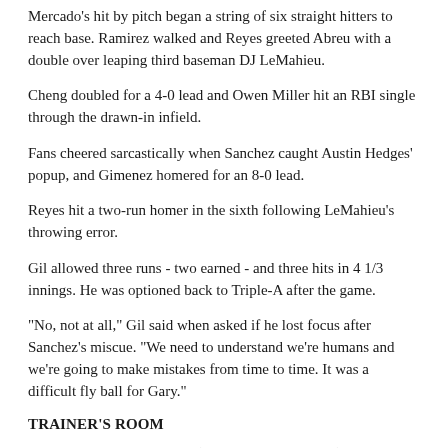Mercado's hit by pitch began a string of six straight hitters to reach base. Ramirez walked and Reyes greeted Abreu with a double over leaping third baseman DJ LeMahieu.
Cheng doubled for a 4-0 lead and Owen Miller hit an RBI single through the drawn-in infield.
Fans cheered sarcastically when Sanchez caught Austin Hedges' popup, and Gimenez homered for an 8-0 lead.
Reyes hit a two-run homer in the sixth following LeMahieu's throwing error.
Gil allowed three runs - two earned - and three hits in 4 1/3 innings. He was optioned back to Triple-A after the game.
"No, not at all," Gil said when asked if he lost focus after Sanchez's miscue. "We need to understand we're humans and we're going to make mistakes from time to time. It was a difficult fly ball for Gary."
TRAINER'S ROOM
Indians: RHP Shane Bieber (strained right shoulder) will throw four